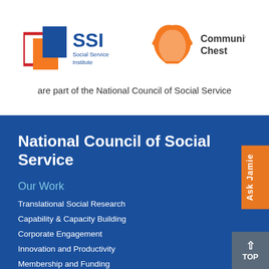[Figure (logo): SSI Social Service Institute logo with colored squares and blue text]
[Figure (logo): Community Chest logo with orange figure and text]
are part of the National Council of Social Service
National Council of Social Service
Our Work
Translational Social Research
Capability & Capacity Building
Corporate Engagement
Innovation and Productivity
Membership and Funding
Social Service Planning and Development